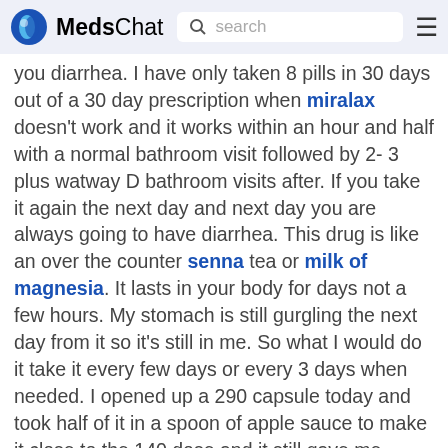MedsChat | search
you diarrhea. I have only taken 8 pills in 30 days out of a 30 day prescription when miralax doesn't work and it works within an hour and half with a normal bathroom visit followed by 2- 3 plus watway D bathroom visits after. If you take it again the next day and next day you are always going to have diarrhea. This drug is like an over the counter senna tea or milk of magnesia. It lasts in your body for days not a few hours. My stomach is still gurgling the next day from it so it's still in me. So what I would do it take it every few days or every 3 days when needed. I opened up a 290 capsule today and took half of it in a spoon of apple sauce to make it close to the 140 dose and it still gave me diarrhea for an hour and half after 1 normal bowel moment. I'm not severely constipated like most on here and im about to take half of a half dose around 80mg in apple sauce the next time and see if it still gives me watery diarrhea